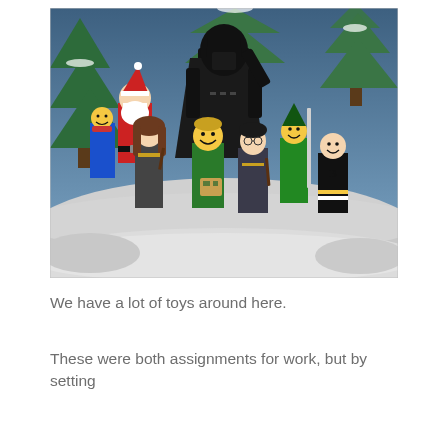[Figure (photo): A photograph of LEGO minifigures arranged in a winter Christmas scene with snow and green trees. Figures include Darth Vader (large, center-back), Santa Claus, Hermione Granger, Harry Potter, a hockey player with a Boston Bruins jersey, a Link/elf figure, and other LEGO characters. Background has blue sky and snow-covered conical trees.]
We have a lot of toys around here.
These were both assignments for work, but by setting